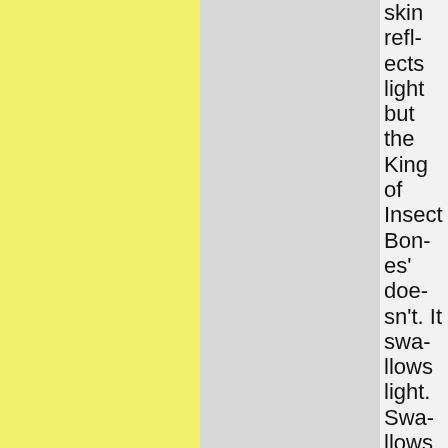[Figure (other): Yellow rectangular color block on left]
[Figure (other): Gray rectangular color block in center]
skin reflects light but the King of Insect Bones' doesn't. It swallows light. Swallows